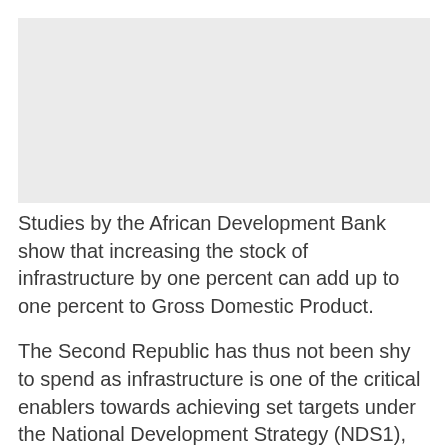[Figure (other): Gray placeholder image area at top of page]
Studies by the African Development Bank show that increasing the stock of infrastructure by one percent can add up to one percent to Gross Domestic Product.
The Second Republic has thus not been shy to spend as infrastructure is one of the critical enablers towards achieving set targets under the National Development Strategy (NDS1), Government's five-year economic master